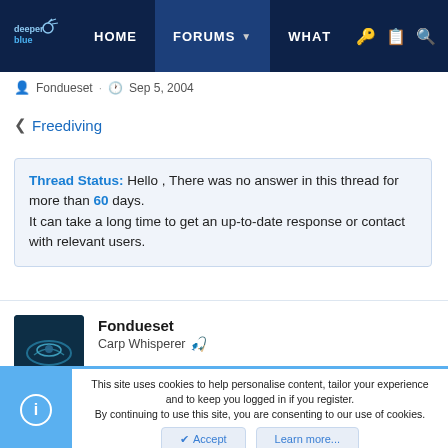deeper blue | HOME | FORUMS | WHAT
Fondueset · Sep 5, 2004
< Freediving
Thread Status: Hello , There was no answer in this thread for more than 60 days. It can take a long time to get an up-to-date response or contact with relevant users.
Fondueset
Carp Whisperer
This site uses cookies to help personalise content, tailor your experience and to keep you logged in if you register. By continuing to use this site, you are consenting to our use of cookies.